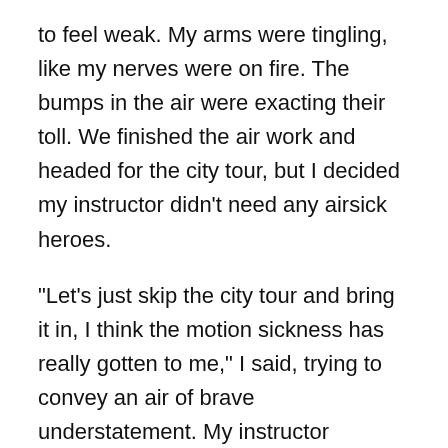to feel weak. My arms were tingling, like my nerves were on fire. The bumps in the air were exacting their toll. We finished the air work and headed for the city tour, but I decided my instructor didn't need any airsick heroes.
“Let’s just skip the city tour and bring it in, I think the motion sickness has really gotten to me,” I said, trying to convey an air of brave understatement. My instructor understood right away and headed for the airport, and encouraged me to fixate on the horizon to steady my senses.